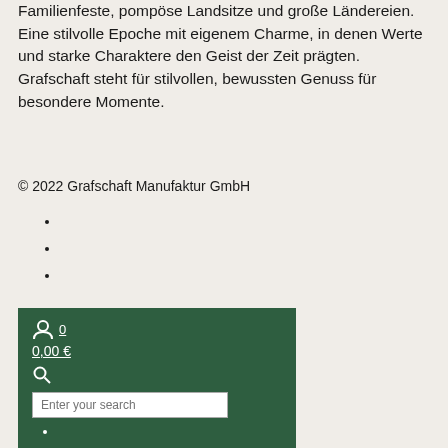Familienfeste, pompöse Landsitze und große Ländereien. Eine stilvolle Epoche mit eigenem Charme, in denen Werte und starke Charaktere den Geist der Zeit prägten. Grafschaft steht für stilvollen, bewussten Genuss für besondere Momente.
© 2022 Grafschaft Manufaktur GmbH
[Figure (screenshot): Dark green navigation panel with user/account icon with '0', cart showing '0,00 €', search icon, search input box, and two bullet list items below]